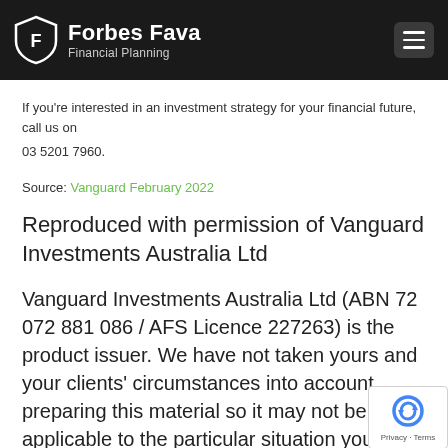Forbes Fava Financial Planning
If you're interested in an investment strategy for your financial future, call us on
03 5201 7960.
Source: Vanguard February 2022
Reproduced with permission of Vanguard Investments Australia Ltd
Vanguard Investments Australia Ltd (ABN 72 072 881 086 / AFS Licence 227263) is the product issuer. We have not taken yours and your clients' circumstances into account preparing this material so it may not be applicable to the particular situation you are